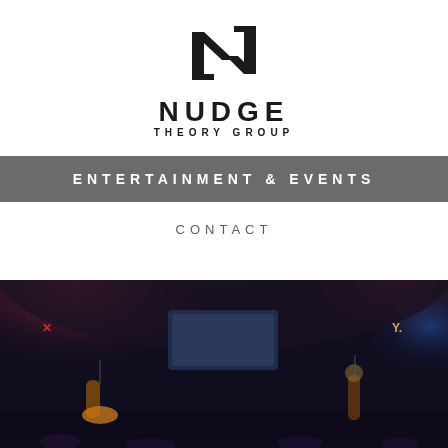[Figure (logo): Nudge Theory Group logo — bold stylized N lettermark above the text NUDGE in large bold uppercase letters, with THEORY GROUP in smaller spaced uppercase letters below]
ENTERTAINMENT & EVENTS
CONTACT
[Figure (photo): Dark concert/nightclub scene with performers on stage under red and blue stage lighting, with glowing signs and spotlights visible]